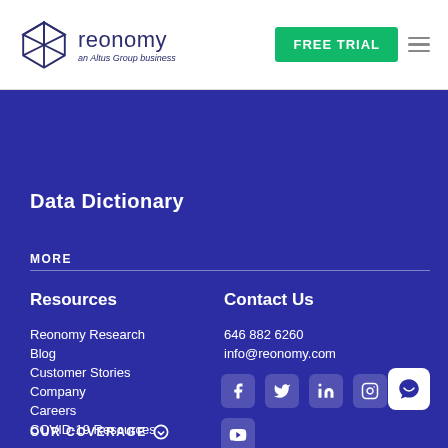[Figure (logo): Reonomy logo — geometric diamond/cube icon with text 'reonomy an Altus Group business']
FREE TRIAL
Data Dictionary
MORE
Resources
Reonomy Research
Blog
Customer Stories
Company
Careers
COVID-19 Resources
Contact Us
646 882 6260
info@reonomy.com
[Figure (infographic): Social media icons: Facebook, Twitter, LinkedIn, Instagram, YouTube]
OUR COVERAGE